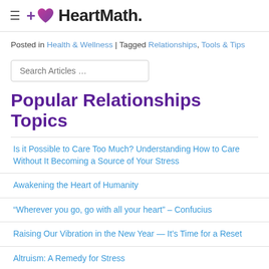HeartMath
Posted in Health & Wellness | Tagged Relationships, Tools & Tips
Search Articles …
Popular Relationships Topics
Is it Possible to Care Too Much? Understanding How to Care Without It Becoming a Source of Your Stress
Awakening the Heart of Humanity
“Wherever you go, go with all your heart” – Confucius
Raising Our Vibration in the New Year — It’s Time for a Reset
Altruism: A Remedy for Stress